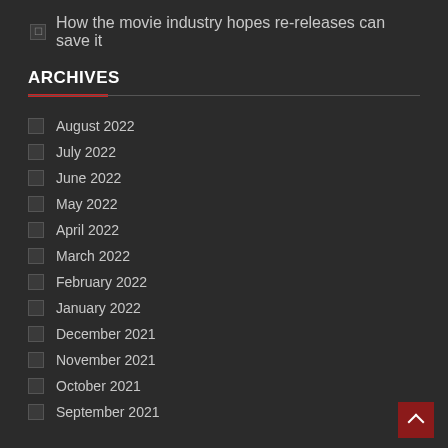How the movie industry hopes re-releases can save it
ARCHIVES
August 2022
July 2022
June 2022
May 2022
April 2022
March 2022
February 2022
January 2022
December 2021
November 2021
October 2021
September 2021